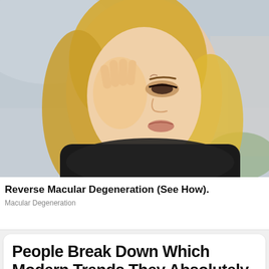[Figure (photo): A blonde woman in a black top holding her hand up to her eye, appearing to rub or touch her eye, with a blurred outdoor background.]
Reverse Macular Degeneration (See How).
Macular Degeneration
People Break Down Which Modern Trends They Absolutely H...